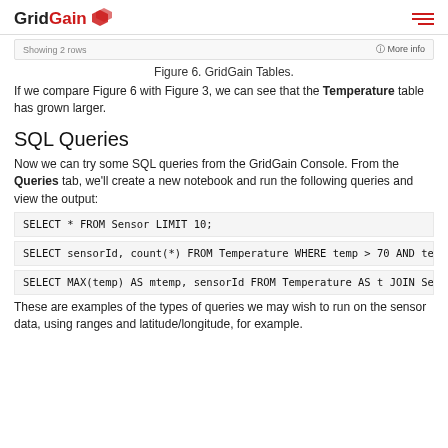GridGain
[Figure (screenshot): GridGain Tables UI showing 'Showing 2 rows' and 'More info' link in a navigation bar]
Figure 6. GridGain Tables.
If we compare Figure 6 with Figure 3, we can see that the Temperature table has grown larger.
SQL Queries
Now we can try some SQL queries from the GridGain Console. From the Queries tab, we'll create a new notebook and run the following queries and view the output:
SELECT * FROM Sensor LIMIT 10;
SELECT sensorId, count(*) FROM Temperature WHERE temp > 70 AND temp
SELECT MAX(temp) AS mtemp, sensorId FROM Temperature AS t JOIN Sens
These are examples of the types of queries we may wish to run on the sensor data, using ranges and latitude/longitude, for example.